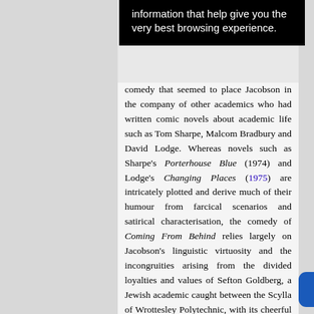information that help give you the very best browsing experience.
comedy that seemed to place Jacobson in the company of other academics who had written comic novels about academic life such as Tom Sharpe, Malcom Bradbury and David Lodge. Whereas novels such as Sharpe's Porterhouse Blue (1974) and Lodge's Changing Places (1975) are intricately plotted and derive much of their humour from farcical scenarios and satirical characterisation, the comedy of Coming From Behind relies largely on Jacobson's linguistic virtuosity and the incongruities arising from the divided loyalties and values of Sefton Goldberg, a Jewish academic caught between the Scylla of Wrottesley Polytechnic, with its cheerful philistinism and dogmatic adherence to literary theory, and the